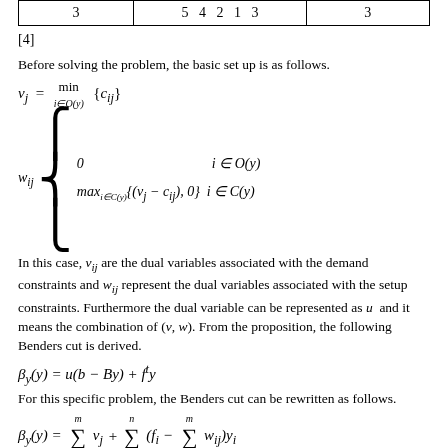| 3 | 5 4 2 1 3 | 3 |
| --- | --- | --- |
[4]
Before solving the problem, the basic set up is as follows.
In this case, v_{ij} are the dual variables associated with the demand constraints and w_{ij} represent the dual variables associated with the setup constraints. Furthermore the dual variable can be represented as u and it means the combination of (v, w). From the proposition, the following Benders cut is derived.
For this specific problem, the Benders cut can be rewritten as follows.
Returning to the problem, we denote factory 1, factory 2, and factory 3 as y1, y2, y3 and to start the problem, we only assume factory 1 is